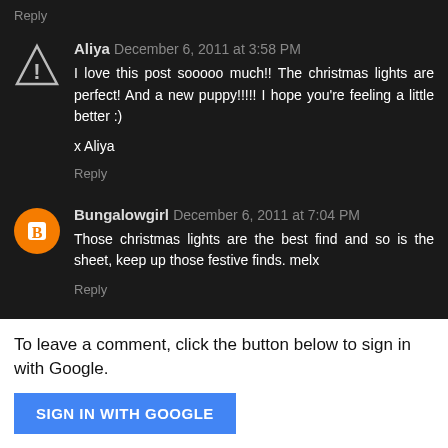Reply
Aliya December 6, 2011 at 3:58 PM
I love this post sooooo much!! The christmas lights are perfect! And a new puppy!!!!! I hope you're feeling a little better :)
x Aliya
Reply
Bungalowgirl December 6, 2011 at 7:04 PM
Those christmas lights are the best find and so is the sheet, keep up those festive finds. melx
Reply
To leave a comment, click the button below to sign in with Google.
SIGN IN WITH GOOGLE